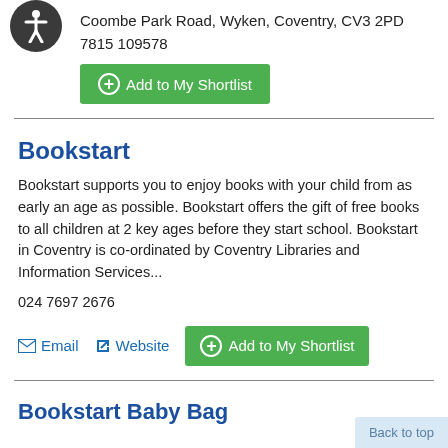Coombe Park Road, Wyken, Coventry, CV3 2PD
7815 109578
Add to My Shortlist
Bookstart
Bookstart supports you to enjoy books with your child from as early an age as possible. Bookstart offers the gift of free books to all children at 2 key ages before they start school. Bookstart in Coventry is co-ordinated by Coventry Libraries and Information Services...
024 7697 2676
Email   Website   Add to My Shortlist
Bookstart Baby Bag